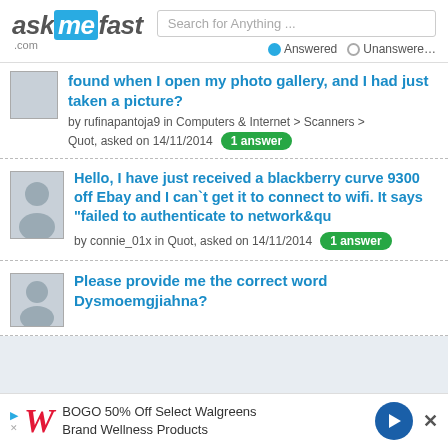[Figure (logo): AskMeFast.com logo with search bar and Answered/Unanswered radio buttons]
found  when I open my photo gallery, and I had just taken a picture?
by rufinapantoja9 in Computers & Internet > Scanners > Quot, asked on 14/11/2014  1 answer
Hello, I have just received a blackberry curve 9300 off Ebay and I can`t get it to connect to wifi. It says "failed to authenticate to network&qu
by connie_01x in Quot, asked on 14/11/2014  1 answer
Please provide me the correct word Dysmoemgjiahna?
[Figure (infographic): Advertisement banner: BOGO 50% Off Select Walgreens Brand Wellness Products with Walgreens W logo and blue arrow icon]